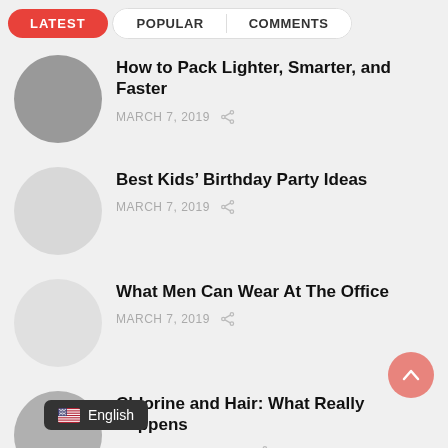LATEST | POPULAR | COMMENTS
How to Pack Lighter, Smarter, and Faster
MARCH 7, 2019
Best Kids’ Birthday Party Ideas
MARCH 7, 2019
What Men Can Wear At The Office
MARCH 7, 2019
Chlorine and Hair: What Really Happens
DECEMBER 10, 2018
English